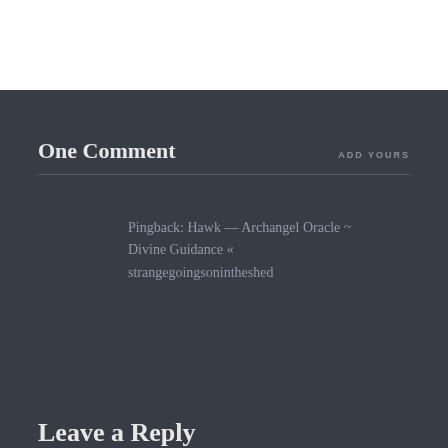One Comment
ADD YOURS
Pingback: Hawk — Archangel Oracle ~ Divine Guidance « strangegoingsonintheshed
Leave a Reply